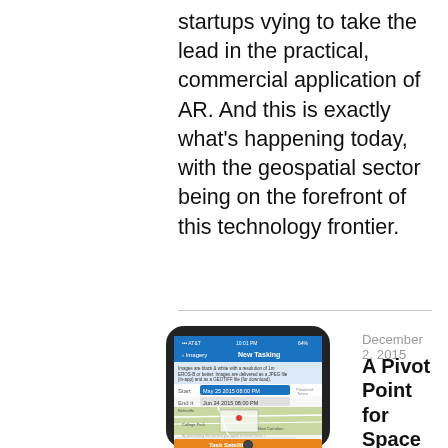startups vying to take the lead in the practical, commercial application of AR. And this is exactly what’s happening today, with the geospatial sector being on the forefront of this technology frontier.
[Figure (photo): Smartphone displaying a satellite tasking app interface with a map showing a selected location, scheduling fields, and a 'Task Satellite' button at the bottom.]
December 2, 2015
A Pivot Point for Space Accessibility
Space often is viewed as a high-tech futuristic dream available only to the world’s top-notch scientists. Online satellite maps, TV